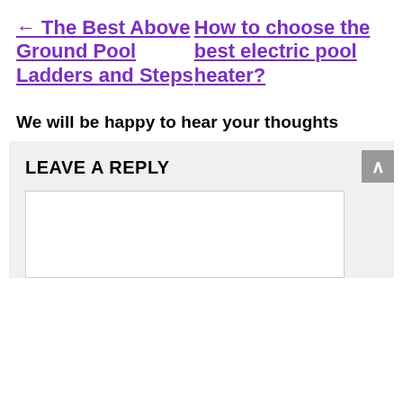← The Best Above Ground Pool Ladders and Steps
How to choose the best electric pool heater?
We will be happy to hear your thoughts
LEAVE A REPLY